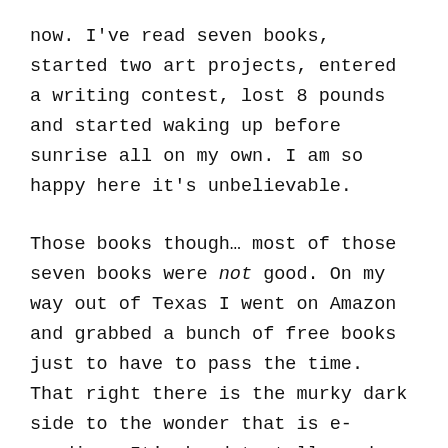now. I've read seven books, started two art projects, entered a writing contest, lost 8 pounds and started waking up before sunrise all on my own. I am so happy here it's unbelievable.
Those books though… most of those seven books were not good. On my way out of Texas I went on Amazon and grabbed a bunch of free books just to have to pass the time. That right there is the murky dark side to the wonder that is e-reading. It's hard to tell good from bad once the paid reviews and author's friends get their two cents in. I won't name